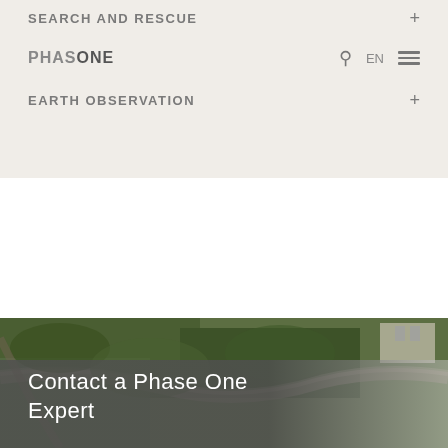SEARCH AND RESCUE
PHASE ONE
EARTH OBSERVATION
[Figure (photo): Aerial photograph showing green tree canopy with roads/paths visible, taken from above, with a building visible in the upper right corner]
Contact a Phase One Expert